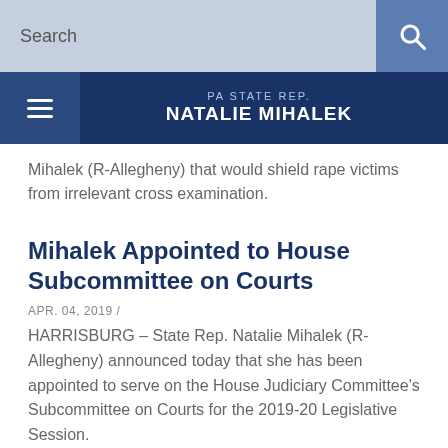Search
PA STATE REP. NATALIE MIHALEK
Mihalek (R-Allegheny) that would shield rape victims from irrelevant cross examination.
Mihalek Appointed to House Subcommittee on Courts
APR. 04, 2019 /
HARRISBURG – State Rep. Natalie Mihalek (R-Allegheny) announced today that she has been appointed to serve on the House Judiciary Committee's Subcommittee on Courts for the 2019-20 Legislative Session.
Mihalek to Host Free ID Theft…